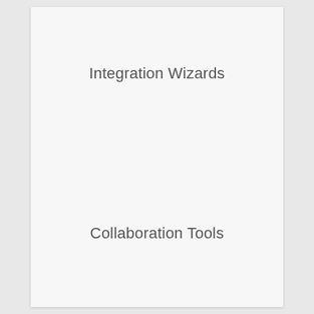Integration Wizards
Collaboration Tools